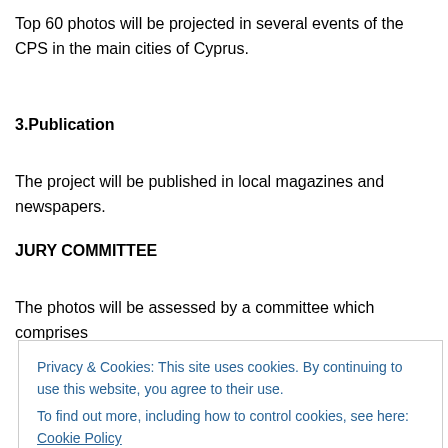Top 60 photos will be projected in several events of the CPS in the main cities of Cyprus.
3.Publication
The project will be published in local magazines and newspapers.
JURY COMMITTEE
The photos will be assessed by a committee which comprises
Privacy & Cookies: This site uses cookies. By continuing to use this website, you agree to their use.
To find out more, including how to control cookies, see here: Cookie Policy
Close and accept